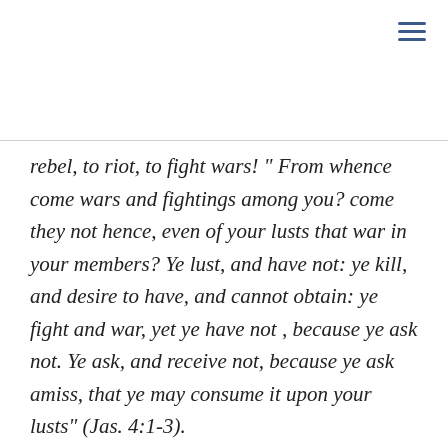rebel, to riot, to fight wars! " From whence come wars and fightings among you? come they not hence, even of your lusts that war in your members? Ye lust, and have not: ye kill, and desire to have, and cannot obtain: ye fight and war, yet ye have not , because ye ask not. Ye ask, and receive not, because ye ask amiss, that ye may consume it upon your lusts" (Jas. 4:1-3). The Bible is the book about human nature. It explains what human nature really IS, how it is hostile and angry toward law. The